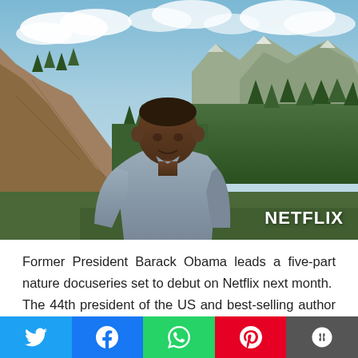[Figure (photo): Former President Barack Obama standing outdoors in a mountain landscape with forested canyons, mountains in the background, and a partly cloudy sky. Netflix watermark in the bottom right.]
Former President Barack Obama leads a five-part nature docuseries set to debut on Netflix next month. The 44th president of the US and best-selling author is the narrator and star of Our Great National Parks, an intercontinental trip to conservation areas across the world, from
[Figure (other): Social sharing bar with icons for Twitter, Facebook, WhatsApp, Pinterest, and More.]